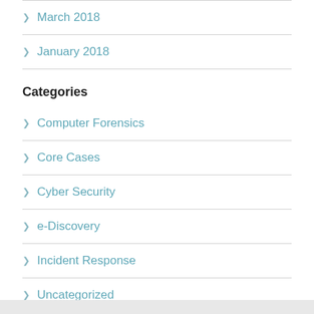March 2018
January 2018
Categories
Computer Forensics
Core Cases
Cyber Security
e-Discovery
Incident Response
Uncategorized